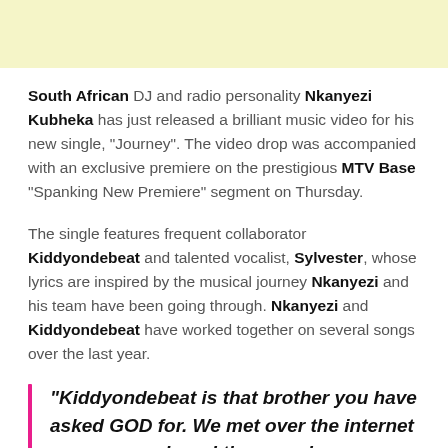[Figure (other): Light yellow/cream colored banner strip at top of page]
South African DJ and radio personality Nkanyezi Kubheka has just released a brilliant music video for his new single, “Journey”. The video drop was accompanied with an exclusive premiere on the prestigious MTV Base “Spanking New Premiere” segment on Thursday.
The single features frequent collaborator Kiddyondebeat and talented vocalist, Sylvester, whose lyrics are inspired by the musical journey Nkanyezi and his team have been going through. Nkanyezi and Kiddyondebeat have worked together on several songs over the last year.
“Kiddyondebeat is that brother you have asked GOD for. We met over the internet a year ago, shared the sounds we are